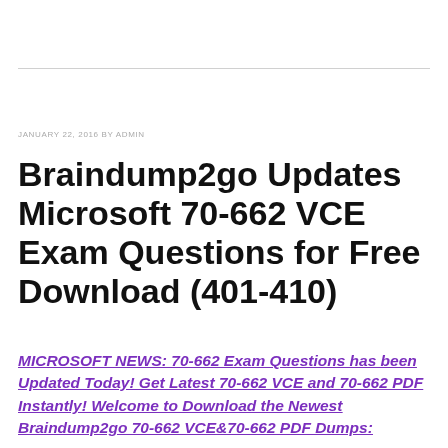JANUARY 22, 2016 BY ADMIN
Braindump2go Updates Microsoft 70-662 VCE Exam Questions for Free Download (401-410)
MICROSOFT NEWS: 70-662 Exam Questions has been Updated Today! Get Latest 70-662 VCE and 70-662 PDF Instantly! Welcome to Download the Newest Braindump2go 70-662 VCE&70-662 PDF Dumps: